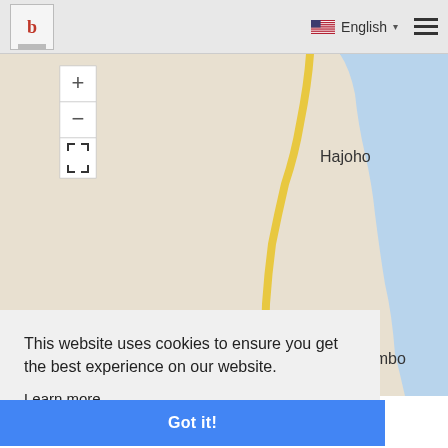[Figure (screenshot): Website header bar with logo (letter b on a stand), English language selector with US flag and dropdown arrow, and hamburger menu icon]
[Figure (map): Interactive map showing coastal area with locations labeled Hajoho and Harembo. A yellow road runs along the coast. Blue water on the right. Map has zoom in (+), zoom out (-), and fullscreen controls on the left.]
This website uses cookies to ensure you get the best experience on our website.
Learn more
Got it!